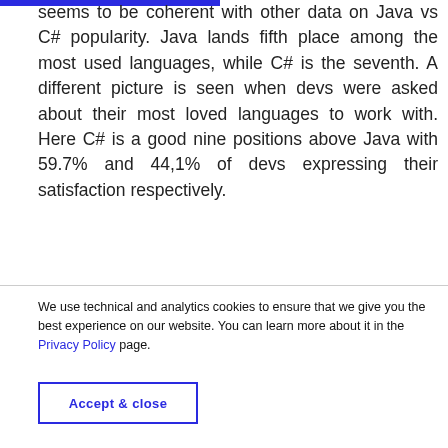seems to be coherent with other data on Java vs C# popularity. Java lands fifth place among the most used languages, while C# is the seventh. A different picture is seen when devs were asked about their most loved languages to work with. Here C# is a good nine positions above Java with 59.7% and 44,1% of devs expressing their satisfaction respectively.
We use technical and analytics cookies to ensure that we give you the best experience on our website. You can learn more about it in the Privacy Policy page.
Accept & close